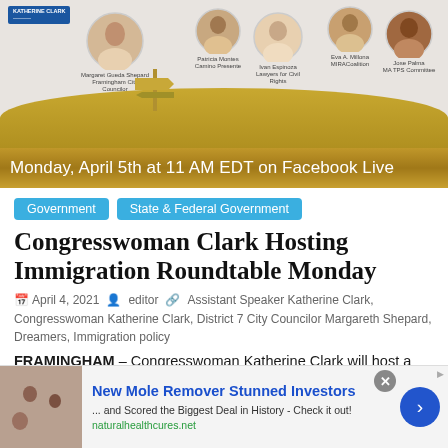[Figure (photo): Event banner showing headshots of Katherine Clark and panelists (Margaret Gueda Shepard, Patricia Montes, Ivan Espinoza, Eva A. Millona, Jose Palma) with a gold signpost graphic]
Monday, April 5th at 11 AM EDT on Facebook Live
Government   State & Federal Government
Congresswoman Clark Hosting Immigration Roundtable Monday
April 4, 2021   editor   Assistant Speaker Katherine Clark, Congresswoman Katherine Clark, District 7 City Councilor Margareth Shepard, Dreamers, Immigration policy
FRAMINGHAM – Congresswoman Katherine Clark will host a discussion on immigration with local advocates on
[Figure (photo): Advertisement: New Mole Remover Stunned Investors – and Scored the Biggest Deal in History - Check it out! naturalhealthcures.net]